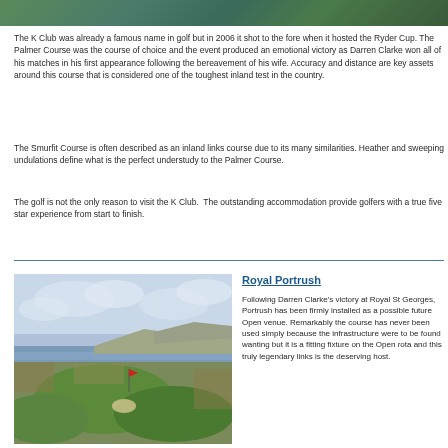[Figure (photo): Aerial/landscape photo of trees and greenery at the top of the page]
The K Club was already a famous name in golf but in 2006 it shot to the fore when it hosted the Ryder Cup. The Palmer Course was the course of choice and the event produced an emotional victory as Darren Clarke won all of his matches in his first appearance following the bereavement of his wife. Accuracy and distance are key assets around this course that is considered one of the toughest inland test in the country.
The Smurfit Course is often described as an inland links course due to its many similarities. Heather and sweeping undulations define what is the perfect understudy to the Palmer Course.
The golf is not the only reason to visit the K Club.  The outstanding accommodation provide golfers with a true five star experience from start to finish.
[Figure (photo): Coastal golf course landscape photo showing green fairways, heathland, cliffs and sea in the background under a cloudy sky — Royal Portrush]
Royal Portrush
Following Darren Clarke's victory at Royal St Georges, Portrush has been firmly installed as a possible future Open venue. Remarkably the course has never been used simply because the infrastructure were to be found wanting but it is a fitting fixture on the Open rota and this truly legendary links is the deserving host.